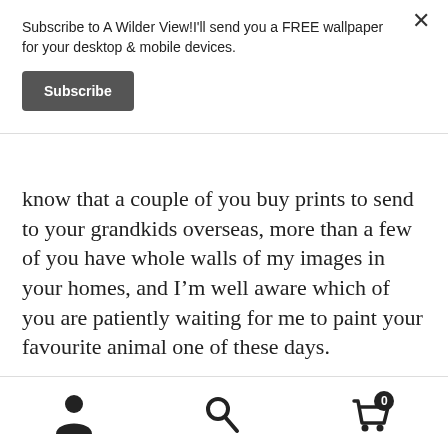Subscribe to A Wilder View!I'll send you a FREE wallpaper for your desktop & mobile devices.
Subscribe
know that a couple of you buy prints to send to your grandkids overseas, more than a few of you have whole walls of my images in your homes, and I’m well aware which of you are patiently waiting for me to paint your favourite animal one of these days.
Though I do include links to the online store in
[Figure (infographic): Bottom navigation bar with user profile icon, search icon, and shopping cart icon with badge showing 0]